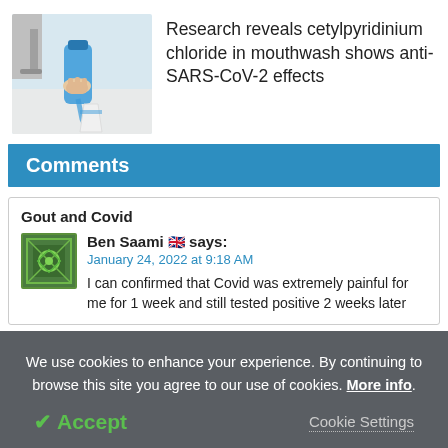[Figure (photo): Photo of a hand pouring blue mouthwash into a small cup near a sink]
Research reveals cetylpyridinium chloride in mouthwash shows anti-SARS-CoV-2 effects
Comments
Gout and Covid
Ben Saami 🇬🇧 says:
January 24, 2022 at 9:18 AM
I can confirmed that Covid was extremely painful for me for 1 week and still tested positive 2 weeks later
We use cookies to enhance your experience. By continuing to browse this site you agree to our use of cookies. More info.
✔ Accept
Cookie Settings